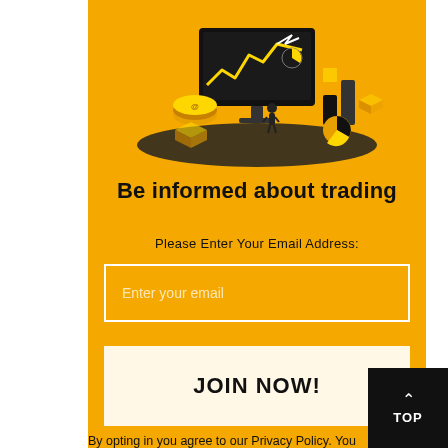[Figure (illustration): Isometric illustration of financial trading elements: a monitor with charts, bar graphs, pie chart, coins, and figures on a dark platform, on a yellow background.]
Be informed about trading
Please Enter Your Email Address:
Enter your email
JOIN NOW!
By opting in you agree to our Privacy Policy. You also agree to receive emails from us and our